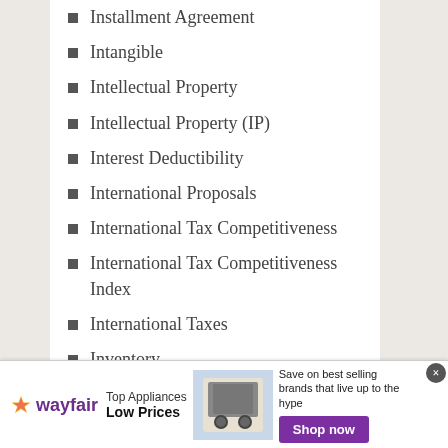Installment Agreement
Intangible
Intellectual Property
Intellectual Property (IP)
Interest Deductibility
International Proposals
International Tax Competitiveness
International Tax Competitiveness Index
International Taxes
Inventory
IRA
Ireland
IRS